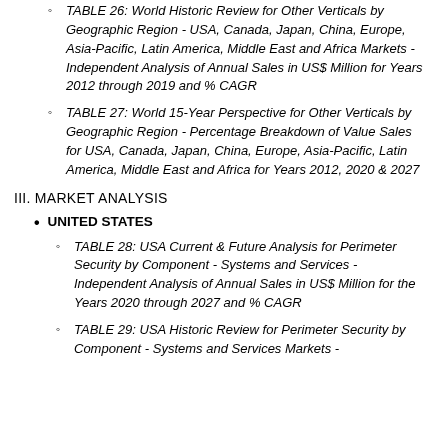TABLE 26: World Historic Review for Other Verticals by Geographic Region - USA, Canada, Japan, China, Europe, Asia-Pacific, Latin America, Middle East and Africa Markets - Independent Analysis of Annual Sales in US$ Million for Years 2012 through 2019 and % CAGR
TABLE 27: World 15-Year Perspective for Other Verticals by Geographic Region - Percentage Breakdown of Value Sales for USA, Canada, Japan, China, Europe, Asia-Pacific, Latin America, Middle East and Africa for Years 2012, 2020 & 2027
III. MARKET ANALYSIS
UNITED STATES
TABLE 28: USA Current & Future Analysis for Perimeter Security by Component - Systems and Services - Independent Analysis of Annual Sales in US$ Million for the Years 2020 through 2027 and % CAGR
TABLE 29: USA Historic Review for Perimeter Security by Component - Systems and Services Markets -